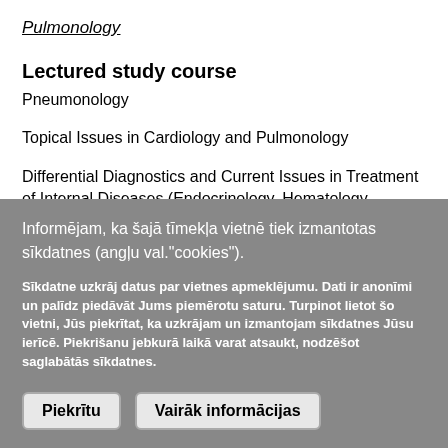Pulmonology
Lectured study course
Pneumonology
Topical Issues in Cardiology and Pulmonology
Differential Diagnostics and Current Issues in Treatment of Internal Diseases (Endocrinology, Hematology,
Informējam, ka šajā tīmekļa vietnē tiek izmantotas sīkdatnes (angļu val."cookies").
Sīkdatne uzkrāj datus par vietnes apmeklējumu. Dati ir anonīmi un palīdz piedāvāt Jums piemērotu saturu. Turpinot lietot šo vietni, Jūs piekrītat, ka uzkrājam un izmantojam sīkdatnes Jūsu ierīcē. Piekrišanu jebkurā laikā varat atsaukt, nodzēšot saglabātās sīkdatnes.
Piekrītu
Vairāk informācijas